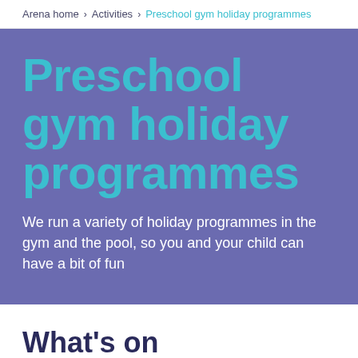Arena home › Activities › Preschool gym holiday programmes
Preschool gym holiday programmes
We run a variety of holiday programmes in the gym and the pool, so you and your child can have a bit of fun
What's on